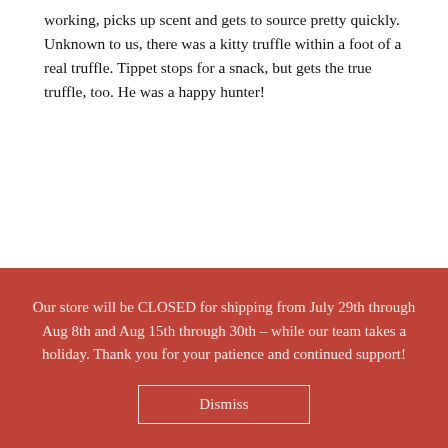working, picks up scent and gets to source pretty quickly. Unknown to us, there was a kitty truffle within a foot of a real truffle. Tippet stops for a snack, but gets the true truffle, too. He was a happy hunter!
Our store will be CLOSED for shipping from July 29th through Aug 8th and Aug 15th through 30th – while our team takes a holiday. Thank you for your patience and continued support!
Dismiss